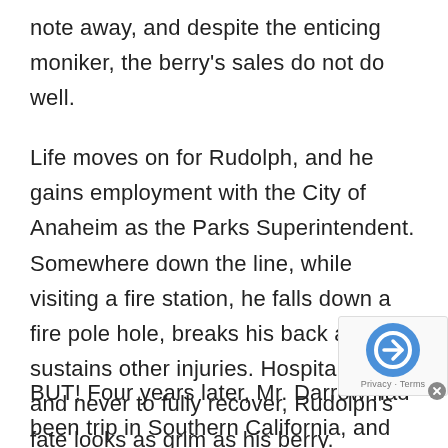note away, and despite the enticing moniker, the berry's sales do not do well.
Life moves on for Rudolph, and he gains employment with the City of Anaheim as the Parks Superintendent. Somewhere down the line, while visiting a fire station, he falls down a fire pole hole, breaks his back and sustains other injuries. Hospitalized, and never to fully recover, Rudolph's fate looks as grim as his berry.
BUT! Four years later, Mr. Darrow had been trip in Southern California, and remembers